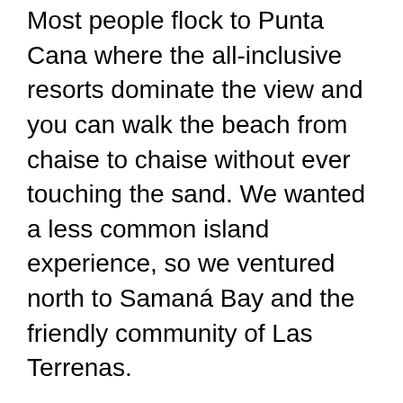Most people flock to Punta Cana where the all-inclusive resorts dominate the view and you can walk the beach from chaise to chaise without ever touching the sand. We wanted a less common island experience, so we ventured north to Samaná Bay and the friendly community of Las Terrenas.
Here friends greet each other in French, English, Dutch, German, and Spanish (that last the official language of the country). The boutiques and shops have a strong European feel, and the restaurants are surprisingly varied for a beach town.